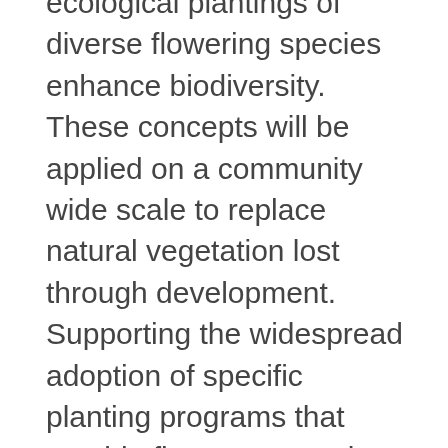ecological plantings of diverse flowering species enhance biodiversity. These concepts will be applied on a community wide scale to replace natural vegetation lost through development. Supporting the widespread adoption of specific planting programs that provide flowers over a long season helps to meet the habitat needs of pollinators. By engaging residents living in urban areas to help address a problem that impacts farming, the project creates greater awareness of how we are all interconnected and how individual actions can impact regional biodiversity and ecological health.